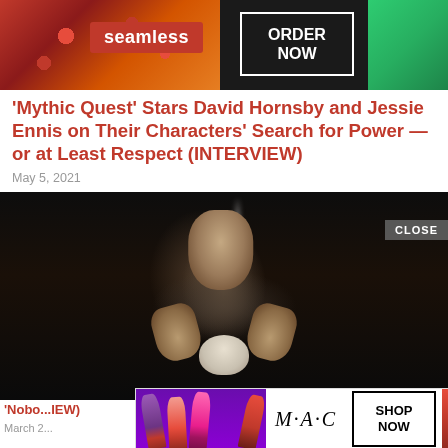[Figure (photo): Seamless food delivery advertisement banner with pizza image on left, Seamless logo in red badge center, ORDER NOW button in white box on right, and greenery photo on far right]
'Mythic Quest' Stars David Hornsby and Jessie Ennis on Their Characters' Search for Power — or at Least Respect (INTERVIEW)
May 5, 2021
[Figure (photo): Dark dramatic still from Mythic Quest showing a man sitting in a dark room with a cigarette, hands raised over a skull, with smoke rising above him]
CLOSE
'Nobo... IEW)
March 2...
[Figure (photo): M·A·C Cosmetics advertisement overlay showing purple, pink, hot pink, and red lipsticks on left, M·A·C italic logo in center, SHOP NOW button in black box, and a red lipstick on the right]